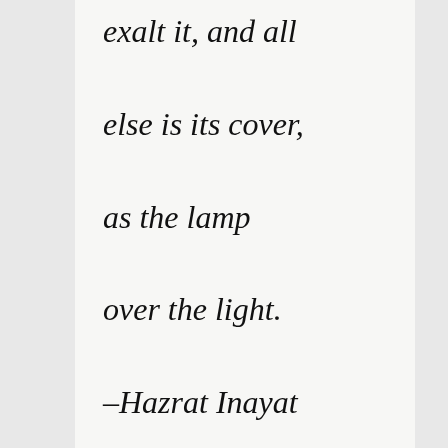exalt it, and all else is its cover, as the lamp over the light. –Hazrat Inayat Khan